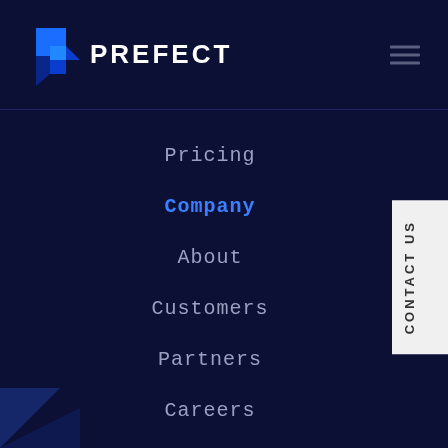[Figure (logo): Prefect logo: blue angular P-shaped icon with white PREFECT text]
Pricing
Company
About
Customers
Partners
Careers
Advisory Board
Newsroom
CONTACT US